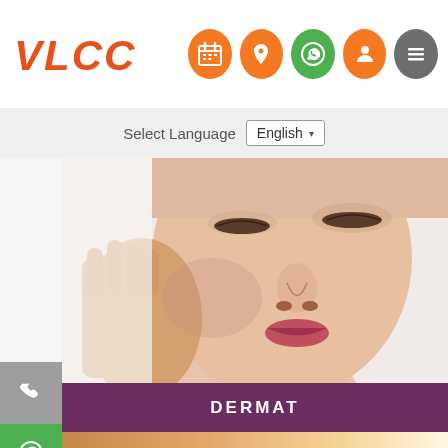[Figure (logo): VLCC logo in orange italic bold text]
[Figure (infographic): Navigation icons: calendar (orange), location pin (orange), WhatsApp (green), profile (orange), hamburger menu (gray) - all circular]
Select Language
[Figure (screenshot): Language dropdown selector showing 'English' with dropdown arrow]
[Figure (photo): Close-up photo of a woman's face with hands on cheeks, against white background - dermatology/skin care image]
DERMAT
[Figure (photo): Photo of person relaxing in a hammock, legs visible, warm sunny background - beauty/wellness image]
[Figure (infographic): Side social media buttons: phone/call (gray), WhatsApp (green), Facebook (blue), Twitter (blue), YouTube (red)]